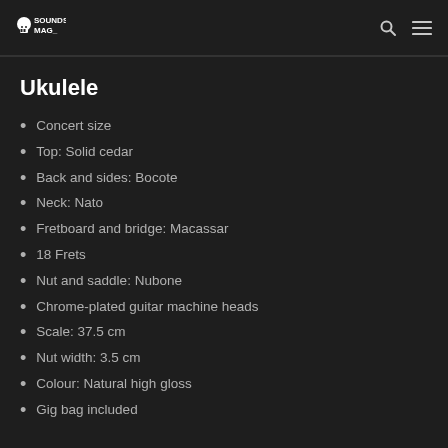SOUNDS MAG_
Ukulele
Concert size
Top: Solid cedar
Back and sides: Bocote
Neck: Nato
Fretboard and bridge: Macassar
18 Frets
Nut and saddle: Nubone
Chrome-plated guitar machine heads
Scale: 37.5 cm
Nut width: 3.5 cm
Colour: Natural high gloss
Gig bag included